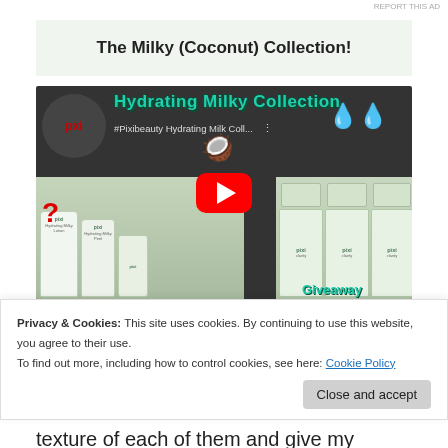REPORT THIS AD
The Milky (Coconut) Collection!
[Figure (screenshot): YouTube video thumbnail for '#Pixibeauty Hydrating Milk Coll...' showing Pixi beauty products, coconuts, water drops emoji, and a red YouTube play button overlay. Title reads 'Hydrating Milky Collection' in teal text.]
Privacy & Cookies: This site uses cookies. By continuing to use this website, you agree to their use.
To find out more, including how to control cookies, see here: Cookie Policy
Close and accept
texture of each of them and give my